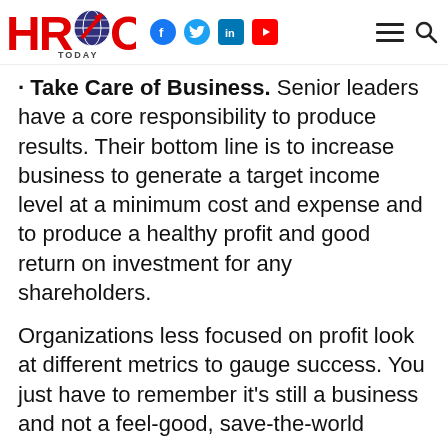HRO TODAY — with Facebook, Twitter, LinkedIn, YouTube social icons, hamburger menu, and search icon
Take Care of Business. Senior leaders have a core responsibility to produce results. Their bottom line is to increase business to generate a target income level at a minimum cost and expense and to produce a healthy profit and good return on investment for any shareholders.
Organizations less focused on profit look at different metrics to gauge success. You just have to remember it's still a business and not a feel-good, save-the-world